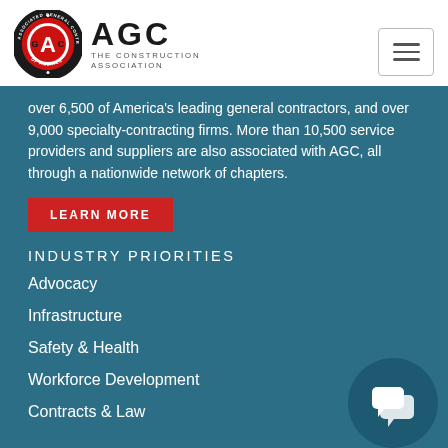[Figure (logo): AGC - Associated General Contractors of America logo with circular red emblem and text 'AGC THE CONSTRUCTION ASSOCIATION']
over 6,500 of America's leading general contractors, and over 9,000 specialty-contracting firms. More than 10,500 service providers and suppliers are also associated with AGC, all through a nationwide network of chapters.
LEARN MORE
INDUSTRY PRIORITIES
Advocacy
Infrastructure
Safety & Health
Workforce Development
Contracts & Law